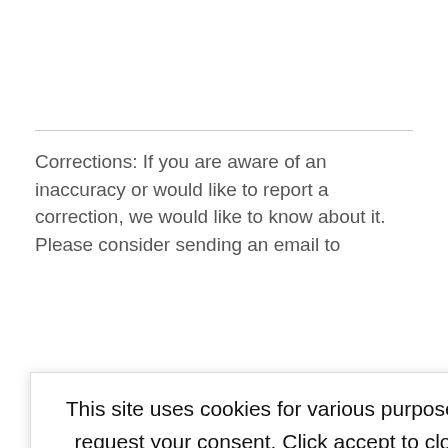Corrections: If you are aware of an inaccuracy or would like to report a correction, we would like to know about it. Please consider sending an email to
e any sources if
This site uses cookies for various purposes. We're legally required to request your consent. Click accept to close this message. If you do not agree, please immediately exit the service or click more to learn why.
NEXT POST →
nderdale Man Dies Being Hit By Car In Central Bro
Daughter Says, "They Did